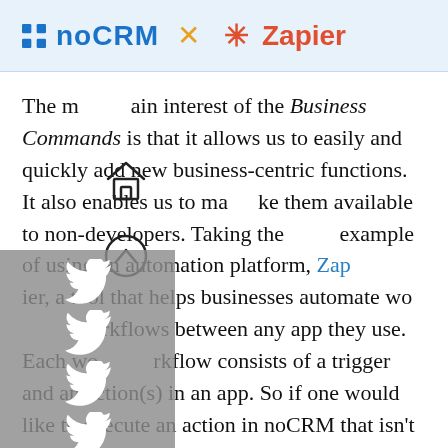[Figure (other): Banner with noCRM logo text, orange X icon, red asterisk icon, and Zapier text on light blue background]
The main interest of the Business Commands is that it allows us to easily and quickly add new business-centric functions. It also enables us to make them available to non-developers. Taking the example of using an automation platform, Zapier, a tool that helps businesses automate workflows between any app they use. Each workflow consists of a trigger and an action(s) in an app. So if one would like to execute an action in noCRM that isn't yet available in our Business Commands, we can add it in a short amount of time and make it available for companies to create their own unique workflows.
[Figure (other): Twitter bird icon overlay (semi-transparent gray panel with 4 Twitter bird icons)]
[Figure (other): Home icon overlay on body text]
[Figure (other): Chevron-up icon overlay on body text]